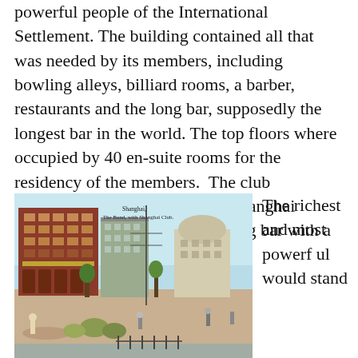powerful people of the International Settlement. The building contained all that was needed by its members, including bowling alleys, billiard rooms, a barber, restaurants and the long bar, supposedly the longest bar in the world. The top floors where occupied by 40 en-suite rooms for the residency of the members.  The club membership was the cream of Shanghai businessman, drinking on the long bar with a carefully selected order.
[Figure (photo): Historic colorized postcard photograph of The Bund with Shanghai Club, showing a busy street scene with a large red-brick multi-story building, pedestrians, carts, and goods on the waterfront promenade. Caption on image reads: 'Shanghai, The Bund, with Shanghai Club.']
The richest and most powerful would stand